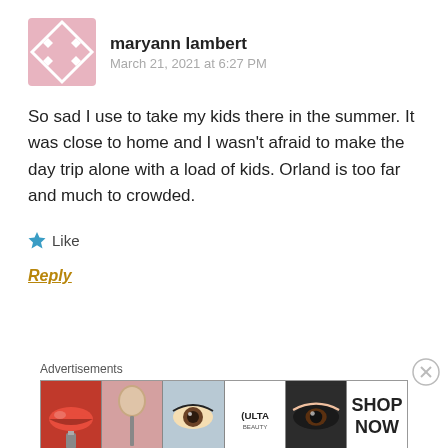[Figure (illustration): User avatar: pink/mauve square with diamond border and four diamond dots pattern]
maryann lambert
March 21, 2021 at 6:27 PM
So sad I use to take my kids there in the summer. It was close to home and I wasn't afraid to make the day trip alone with a load of kids. Orland is too far and much to crowded.
★ Like
Reply
Advertisements
[Figure (screenshot): ULTA Beauty advertisement banner showing cosmetic product images (lips with lipstick and makeup brush, eye with makeup, ULTA logo, eye close-up) and SHOP NOW text]